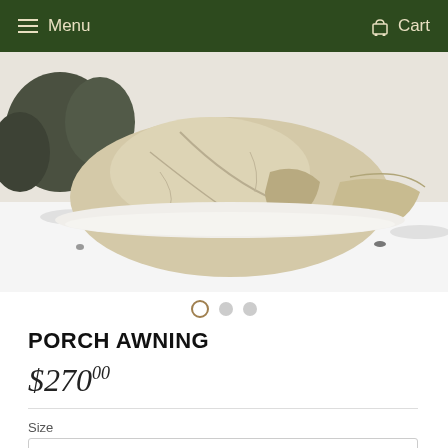Menu  Cart
[Figure (photo): A beige/cream canvas porch awning tent set up in a snowy outdoor environment. The tent has a rounded dome shape with a vestibule/porch area. Background shows snow-covered ground and some dark rocks or vegetation.]
PORCH AWNING
$270.00
Size
13ft
Quantity